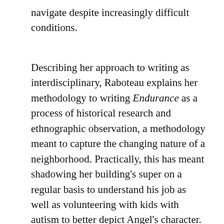navigate despite increasingly difficult conditions.
Describing her approach to writing as interdisciplinary, Raboteau explains her methodology to writing Endurance as a process of historical research and ethnographic observation, a methodology meant to capture the changing nature of a neighborhood. Practically, this has meant shadowing her building's super on a regular basis to understand his job as well as volunteering with kids with autism to better depict Angel's character. In terms of research, Raboteau studied immigration history and investigated the urban ethnography of Washington Heights.